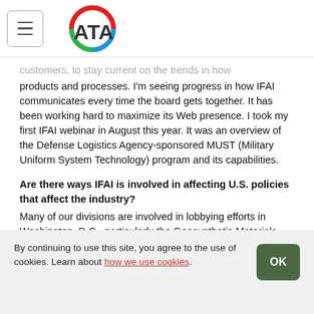ATA
customers, to stay current on the trends in how products and processes. I'm seeing progress in how IFAI communicates every time the board gets together. It has been working hard to maximize its Web presence. I took my first IFAI webinar in August this year. It was an overview of the Defense Logistics Agency-sponsored MUST (Military Uniform System Technology) program and its capabilities.
Are there ways IFAI is involved in affecting U.S. policies that affect the industry? Many of our divisions are involved in lobbying efforts in Washington, D.C., particularly the Geosynthetic Materials Association (GMA), United States Industrial Fabrics Institute (USIFI) and Narrow Fabrics Institute
By continuing to use this site, you agree to the use of cookies. Learn about how we use cookies.